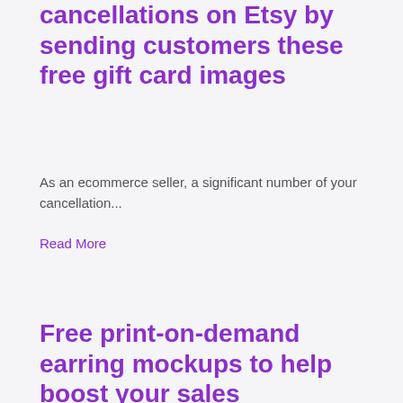cancellations on Etsy by sending customers these free gift card images
As an ecommerce seller, a significant number of your cancellation...
Read More
Free print-on-demand earring mockups to help boost your sales